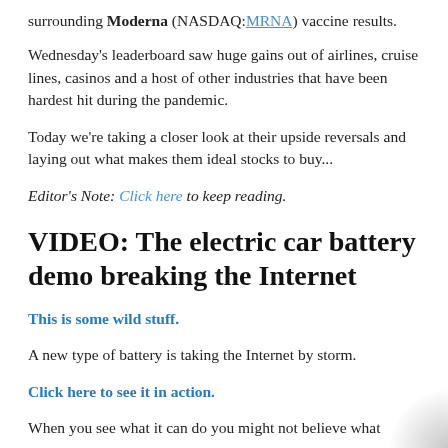surrounding Moderna (NASDAQ:MRNA) vaccine results.
Wednesday's leaderboard saw huge gains out of airlines, cruise lines, casinos and a host of other industries that have been hardest hit during the pandemic.
Today we're taking a closer look at their upside reversals and laying out what makes them ideal stocks to buy...
Editor's Note: Click here to keep reading.
VIDEO: The electric car battery demo breaking the Internet
This is some wild stuff.
A new type of battery is taking the Internet by storm.
Click here to see it in action.
When you see what it can do you might not believe what